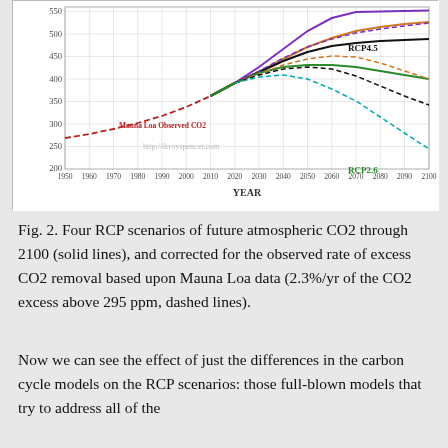[Figure (line-chart): Four RCP scenarios (solid lines) of future atmospheric CO2 from 1950 to 2100, plus dashed corrected lines, and Mauna Loa observed CO2 (dashed red). Labels: RCP4.5 and RCP2.6 visible. Y-axis: 200-550. X-axis: 1950-2100. watermark: http://drroyspencer.com]
Fig. 2. Four RCP scenarios of future atmospheric CO2 through 2100 (solid lines), and corrected for the observed rate of excess CO2 removal based upon Mauna Loa data (2.3%/yr of the CO2 excess above 295 ppm, dashed lines).
Now we can see the effect of just the differences in the carbon cycle models on the RCP scenarios: those full-blown models that try to address all of the